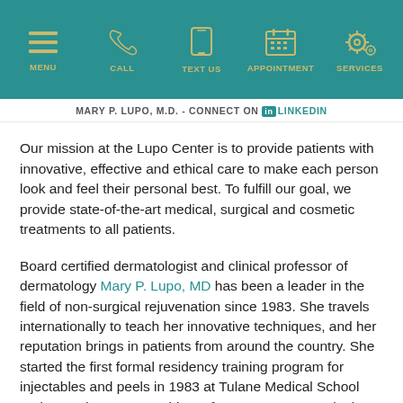MENU | CALL | TEXT US | APPOINTMENT | SERVICES
MARY P. LUPO, M.D. - CONNECT ON LINKEDIN
Our mission at the Lupo Center is to provide patients with innovative, effective and ethical care to make each person look and feel their personal best. To fulfill our goal, we provide state-of-the-art medical, surgical and cosmetic treatments to all patients.
Board certified dermatologist and clinical professor of dermatology Mary P. Lupo, MD has been a leader in the field of non-surgical rejuvenation since 1983. She travels internationally to teach her innovative techniques, and her reputation brings in patients from around the country. She started the first formal residency training program for injectables and peels in 1983 at Tulane Medical School and served as past president of Women's Dermatologic Society, adjunct professor of dermatology at Tulane and a founder of Cosmetic Boot Camp. Dr. Lupo holds